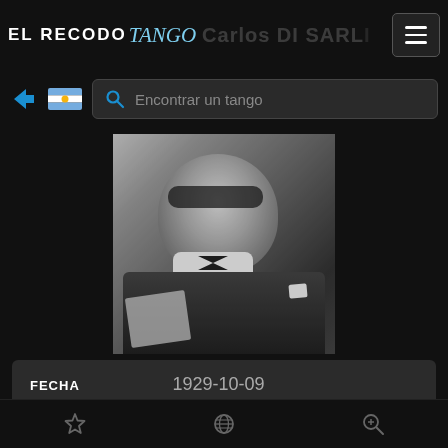EL RECODO TANGO — Carlos DI SARLI
[Figure (screenshot): Navigation bar with EL RECODO TANGO logo, ghost text 'Carlos DI SARLI', and hamburger menu button]
[Figure (screenshot): Search bar row with blue arrow icon, Argentine flag icon, and search field labeled 'Encontrar un tango']
[Figure (photo): Black and white photograph of a man in a dark suit and bow tie wearing dark glasses, smiling, holding papers]
| Field | Value |
| --- | --- |
| FECHA | 1929-10-09 |
| TÍTULO | Belén |
Bottom navigation bar with star, globe, and search magnifier icons